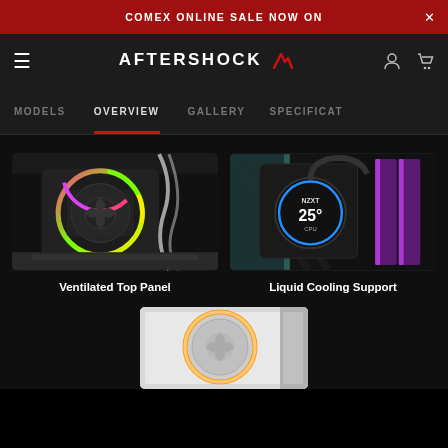COMEX ONLINE SALE NOW ON
[Figure (logo): AFTERSHOCK PC logo with red lightning bolt accent]
MODELS  OVERVIEW  GALLERY  SPECIFICATIONS
[Figure (photo): PC case interior showing ventilated top panel with RGB fans — yellow/green and pink RGB lighting on fan grills, white cooling tubes]
Ventilated Top Panel
[Figure (photo): Liquid cooling radiator with NZXT display showing 25°C CPU temperature, purple/pink RGB RAM sticks]
Liquid Cooling Support
[Figure (photo): Bottom section showing white RGB fan with glowing ring, partially visible]